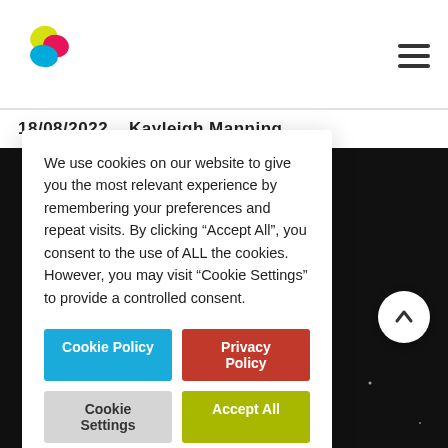[Figure (logo): Colorful blob logo with yellow, pink/red, and blue overlapping shapes]
18/08/2022   Kayleigh Manning
We use cookies on our website to give you the most relevant experience by remembering your preferences and repeat visits. By clicking “Accept All”, you consent to the use of ALL the cookies. However, you may visit “Cookie Settings” to provide a controlled consent.
Cookie Policy | Privacy Policy | Cookie Settings | Accept All
[Figure (photo): Dark background with white light trails forming a network/triangle pattern (stars and connected lines)]